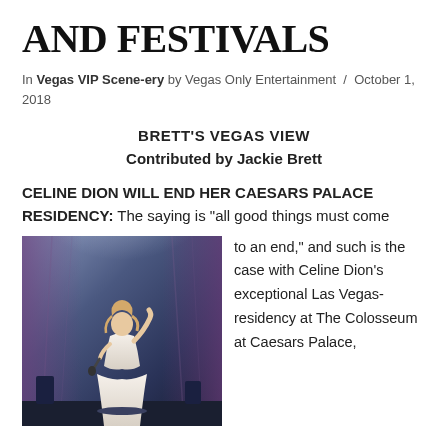AND FESTIVALS
In Vegas VIP Scene-ery by Vegas Only Entertainment / October 1, 2018
BRETT'S VEGAS VIEW
Contributed by Jackie Brett
CELINE DION WILL END HER CAESARS PALACE RESIDENCY: The saying is “all good things must come to an end,” and such is the case with Celine Dion’s exceptional Las Vegas-residency at The Colosseum at Caesars Palace,
[Figure (photo): Celine Dion performing on stage in a white dress with one arm raised, microphone in hand, against a blue/purple stage backdrop with lighting effects]